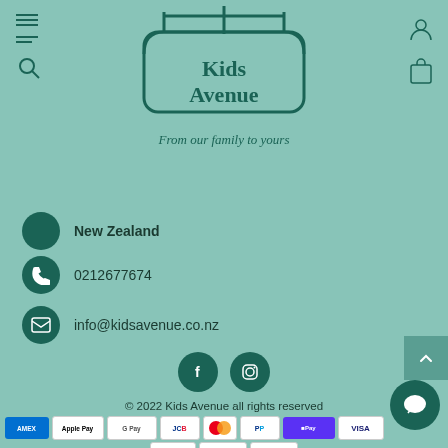[Figure (logo): Kids Avenue logo — a sign shape with 'Kids Avenue' text and tagline 'From our family to yours']
New Zealand
0212677674
info@kidsavenue.co.nz
[Figure (illustration): Facebook and Instagram social media icon buttons]
© 2022 Kids Avenue all rights reserved
[Figure (illustration): Payment method badges: AMEX, Apple Pay, Google Pay, JCB, Mastercard, PayPal, ShopPay, VISA, and others (POLi, Zip)]